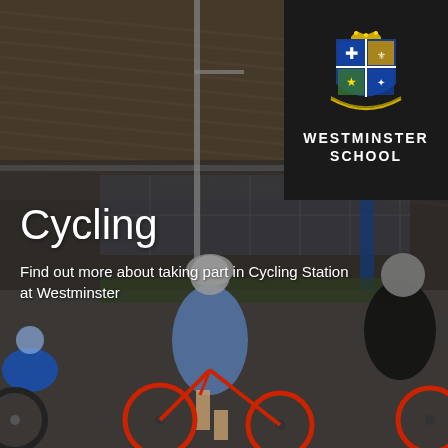[Figure (photo): Three students in cycling gear and helmets riding red road bikes on a path outside a modern stadium/sports building with a curved timber ceiling structure. Daytime outdoor scene.]
[Figure (logo): Westminster School logo: dark background with heraldic shield crest in gold, blue and green above the text WESTMINSTER SCHOOL in white capital letters]
Cycling
Find out more about taking part in Cycling Station at Westminster